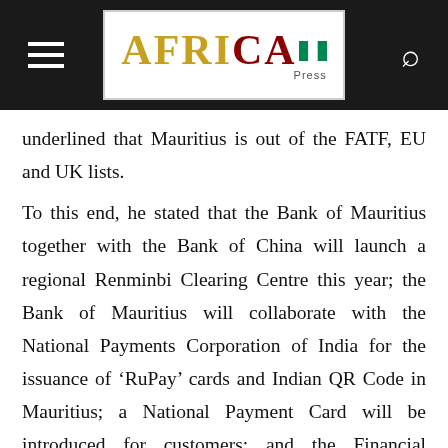AFRICA Press [logo with Nigerian flag]
underlined that Mauritius is out of the FATF, EU and UK lists.
To this end, he stated that the Bank of Mauritius together with the Bank of China will launch a regional Renminbi Clearing Centre this year; the Bank of Mauritius will collaborate with the National Payments Corporation of India for the issuance of ‘RuPay’ cards and Indian QR Code in Mauritius; a National Payment Card will be introduced for customers; and the Financial Services Commission will revamp its